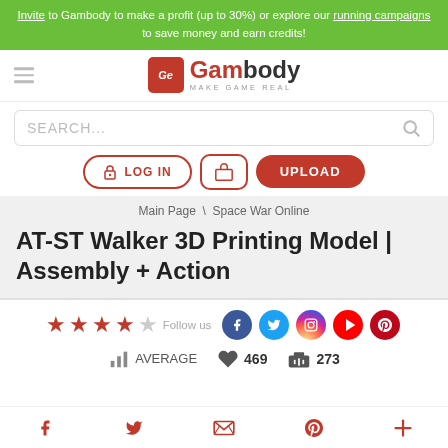Invite to Gambody to make a profit (up to 30%) or explore our running campaigns to save money and earn credits!
[Figure (logo): Gambody logo with 'Ge' icon and text 'Gambody MAKE GAME REAL']
SEARCH...
LOG IN
UPLOAD
Main Page \ Space War Online
AT-ST Walker 3D Printing Model | Assembly + Action
Follow us
AVERAGE   469   273